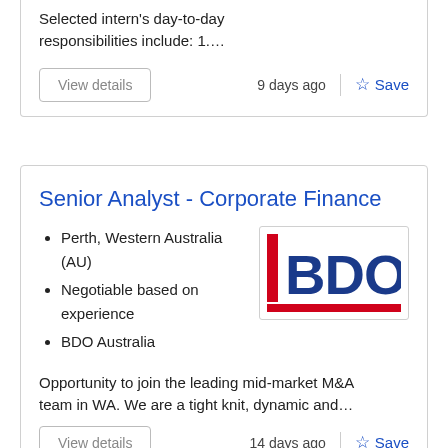Selected intern's day-to-day responsibilities include: 1....
9 days ago
Save
Senior Analyst - Corporate Finance
Perth, Western Australia (AU)
Negotiable based on experience
BDO Australia
[Figure (logo): BDO Australia company logo with red underline bar]
Opportunity to join the leading mid-market M&A team in WA. We are a tight knit, dynamic and…
14 days ago
Save